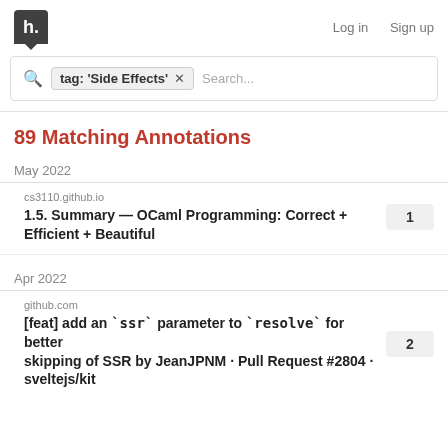h. Log in Sign up
tag: 'Side Effects' × Search...
89 Matching Annotations
May 2022
cs3110.github.io
1.5. Summary — OCaml Programming: Correct + Efficient + Beautiful
Apr 2022
github.com
[feat] add an `ssr` parameter to `resolve` for better skipping of SSR by JeanJPNM · Pull Request #2804 · sveltejs/kit